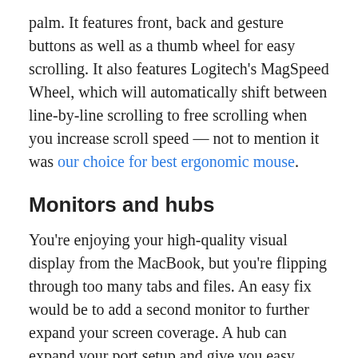palm. It features front, back and gesture buttons as well as a thumb wheel for easy scrolling. It also features Logitech's MagSpeed Wheel, which will automatically shift between line-by-line scrolling to free scrolling when you increase scroll speed — not to mention it was our choice for best ergonomic mouse.
Monitors and hubs
You're enjoying your high-quality visual display from the MacBook, but you're flipping through too many tabs and files. An easy fix would be to add a second monitor to further expand your screen coverage. A hub can expand your port setup and give you easy access to them while sitting on top of your desk. Both a monitor and a hub are excellent options if you've got the desk